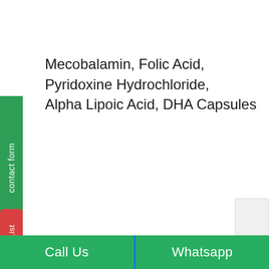Mecobalamin, Folic Acid, Pyridoxine Hydrochloride, Alpha Lipoic Acid, DHA Capsules
contact form
ct List
Call Us
Whatsapp